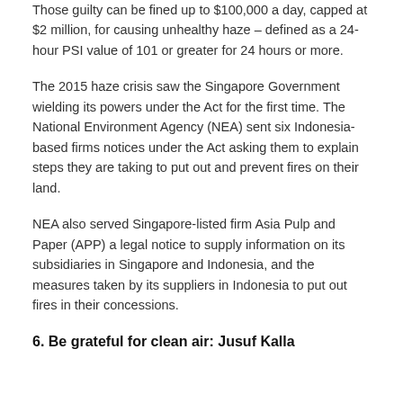Those guilty can be fined up to $100,000 a day, capped at $2 million, for causing unhealthy haze – defined as a 24-hour PSI value of 101 or greater for 24 hours or more.
The 2015 haze crisis saw the Singapore Government wielding its powers under the Act for the first time. The National Environment Agency (NEA) sent six Indonesia-based firms notices under the Act asking them to explain steps they are taking to put out and prevent fires on their land.
NEA also served Singapore-listed firm Asia Pulp and Paper (APP) a legal notice to supply information on its subsidiaries in Singapore and Indonesia, and the measures taken by its suppliers in Indonesia to put out fires in their concessions.
6. Be grateful for clean air: Jusuf Kalla